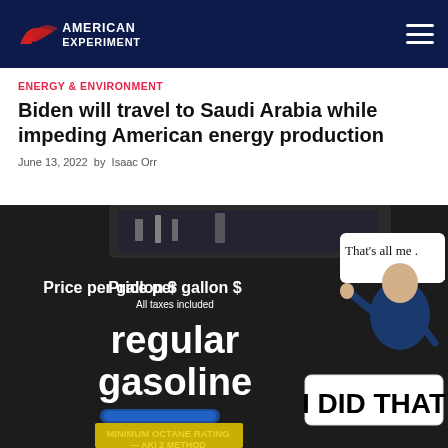American Experiment
ENERGY & ENVIRONMENT
Biden will travel to Saudi Arabia while impeding American energy production
June 13, 2022 by Isaac Orr
[Figure (photo): Gas pump panel showing 'Price per gallon $ All taxes included' and 'regular gasoline' text, with a sticker of Biden pointing and text reading 'That's all me.' and 'I DID THAT']